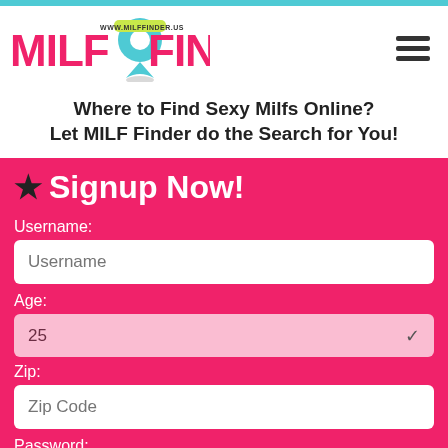[Figure (logo): MILF Finder logo with teal location pin icon and www.milffinder.us URL tag]
Where to Find Sexy Milfs Online? Let MILF Finder do the Search for You!
★ Signup Now!
Username:
Username (input field placeholder)
Age:
25 (dropdown)
Zip:
Zip Code (input field placeholder)
Password: